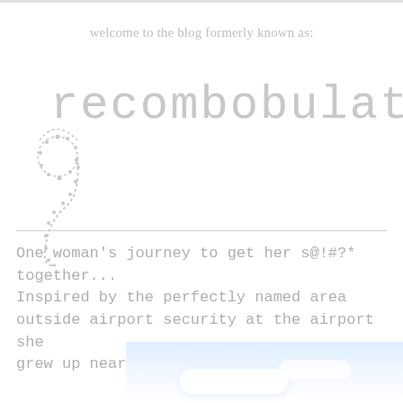welcome to the blog formerly known as:
[Figure (logo): Blog logo showing a decorative cursive 'g' followed by 'recombobulated' in light gray monospace/typewriter font]
One woman's journey to get her s@!#?* together...
Inspired by the perfectly named area outside airport security at the airport she grew up nearby...
[Figure (photo): Photo of a blue sky with white clouds, cropped to show just the sky portion]